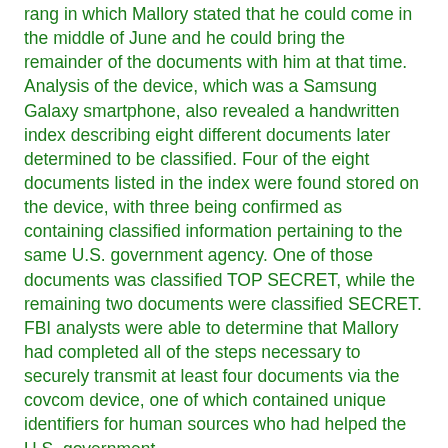rang in which Mallory stated that he could come in the middle of June and he could bring the remainder of the documents with him at that time. Analysis of the device, which was a Samsung Galaxy smartphone, also revealed a handwritten index describing eight different documents later determined to be classified. Four of the eight documents listed in the index were found stored on the device, with three being confirmed as containing classified information pertaining to the same U.S. government agency. One of those documents was classified TOP SECRET, while the remaining two documents were classified SECRET. FBI analysts were able to determine that Mallory had completed all of the steps necessary to securely transmit at least four documents via the covcom device, one of which contained unique identifiers for human sources who had helped the U.S. government.
Mallory was convicted of conspiracy to deliver, attempted